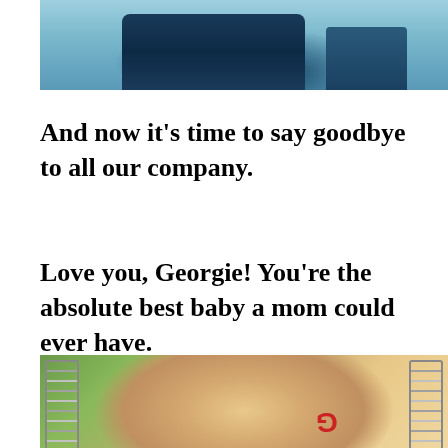[Figure (photo): Top portion of a photo showing what appears to be blue clothing/shorts against a tiled or concrete background, cropped at the top of the page]
And now it’s time to say goodbye to all our company.
Love you, Georgie! You’re the absolute best baby a mom could ever have.
[Figure (photo): Photo of a young blonde child (Georgie) photographed upside down on a swing set, with a red letter G marked on their forehead. Chain links of the swing are visible on both sides.]